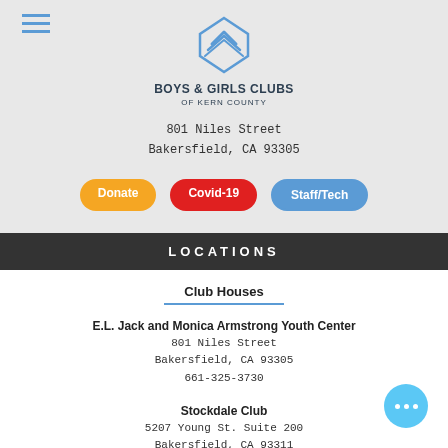[Figure (logo): Boys & Girls Clubs of Kern County logo with blue diamond/arrow icon]
BOYS & GIRLS CLUBS
OF KERN COUNTY
801 Niles Street
Bakersfield, CA 93305
Donate
Covid-19
Staff/Tech
LOCATIONS
Club Houses
E.L. Jack and Monica Armstrong Youth Center
801 Niles Street
Bakersfield, CA 93305
661-325-3730
Stockdale Club
5207 Young St. Suite 200
Bakersfield, CA 93311
661-663-8733
Lamont Club
8301 Segrue Rd.